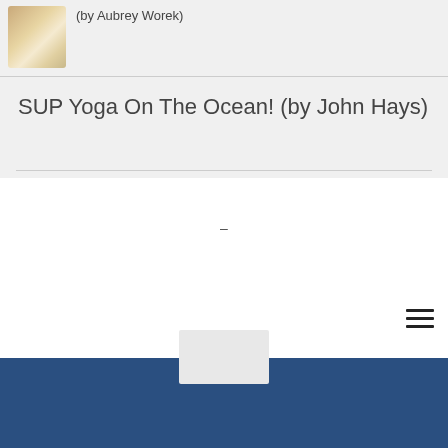[Figure (photo): Small thumbnail image of a light-colored object, appears to be a product photo]
(by Aubrey Worek)
SUP Yoga On The Ocean! (by John Hays)
–
[Figure (other): Hamburger/menu icon with three horizontal lines]
[Figure (other): Light grey rectangle overlapping the blue footer section]
[Figure (other): Dark blue footer section]